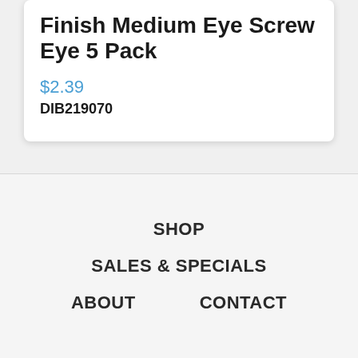Finish Medium Eye Screw Eye 5 Pack
$2.39
DIB219070
SHOP
SALES & SPECIALS
ABOUT
CONTACT